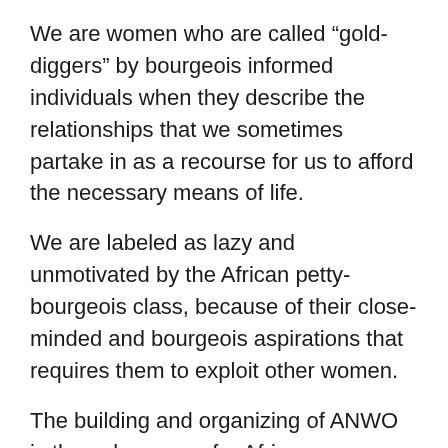We are women who are called “gold-diggers” by bourgeois informed individuals when they describe the relationships that we sometimes partake in as a recourse for us to afford the necessary means of life.
We are labeled as lazy and unmotivated by the African petty-bourgeois class, because of their close-minded and bourgeois aspirations that requires them to exploit other women.
The building and organizing of ANWO is the only escape for African women who must face such harsh judgment and insults from the world.
Therefore, it has become a historical mission for the same women who are being portrayed as nothing but useless to decide and organize ourselves; to be able to tell our own narratives and make decisions about our own lives in the process of…